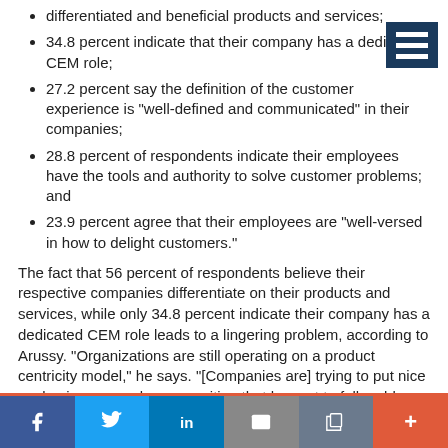differentiated and beneficial products and services;
34.8 percent indicate that their company has a dedicated CEM role;
27.2 percent say the definition of the customer experience is "well-defined and communicated" in their companies;
28.8 percent of respondents indicate their employees have the tools and authority to solve customer problems; and
23.9 percent agree that their employees are "well-versed in how to delight customers."
The fact that 56 percent of respondents believe their respective companies differentiate on their products and services, while only 34.8 percent indicate their company has a dedicated CEM role leads to a lingering problem, according to Arussy. "Organizations are still operating on a product centricity model," he says. "[Companies are] trying to put nice packaging on a value proposition that has yet to fully address the complete customer problem. Companies need to make the leap toward